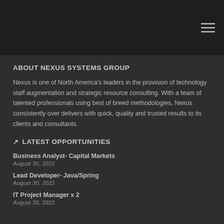Nexus Systems Group [hamburger menu icon]
ABOUT NEXUS SYSTEMS GROUP
Nexus is one of North America's leaders in the provision of technology staff augmentation and strategic resource consulting. With a team of talented professionals using best of breed methodologies, Nexus consistently over delivers with quick, quality and trusted results to its clients and consultants.
LATEST OPPORTUNITIES
Business Analyst- Capital Markets
August 30, 2022
Lead Developer- Java/Spring
August 30, 2022
IT Project Manager x 2
August 30, 2022